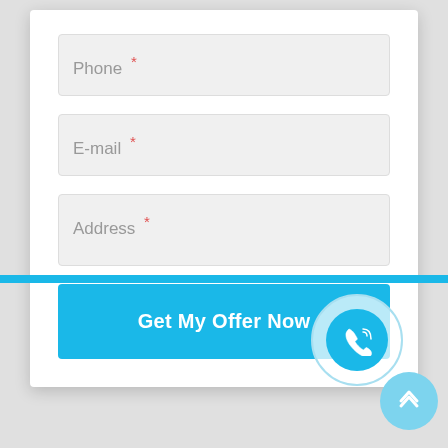[Figure (screenshot): Web form with Phone, E-mail, and Address fields, plus a 'Get My Offer Now' button, a phone call floating button, and a scroll-to-top button.]